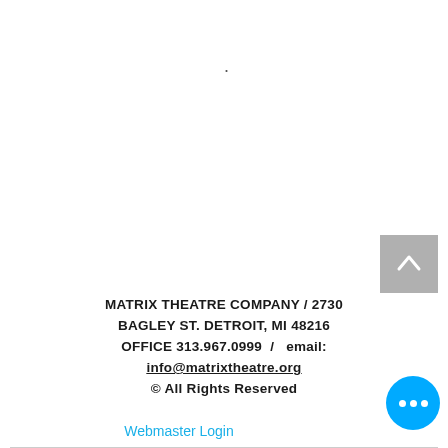MATRIX THEATRE COMPANY / 2730 BAGLEY ST. DETROIT, MI 48216 OFFICE 313.967.0999 / email: info@matrixtheatre.org © All Rights Reserved
Webmaster Login